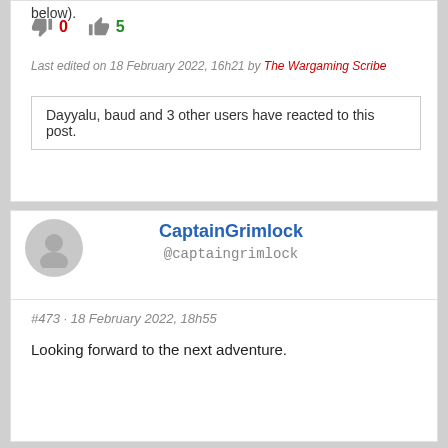below).
👎 0  👍 5
Last edited on 18 February 2022, 16h21 by The Wargaming Scribe
Dayyalu, baud and 3 other users have reacted to this post.
CaptainGrimlock
@captaingrimlock
#473 · 18 February 2022, 18h55
Looking forward to the next adventure.